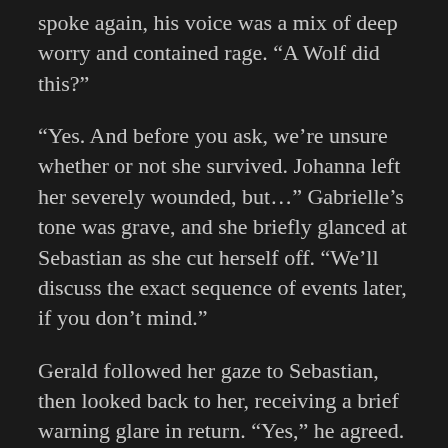spoke again, his voice was a mix of deep worry and contained rage. “A Wolf did this?”
“Yes. And before you ask, we’re unsure whether or not she survived. Johanna left her severely wounded, but…” Gabrielle’s tone was grave, and she briefly glanced at Sebastian as she cut herself off. “We’ll discuss the exact sequence of events later, if you don’t mind.”
Gerald followed her gaze to Sebastian, then looked back to her, receiving a brief warning glare in return. “Yes,” he agreed. “Of course.”
“Rivers.” When both Kyle and Sebastian snapped to attention and looked at her in question, she nodded. “Both of you. Go up, clear your room of anything you’ll need, and relocate to the tree